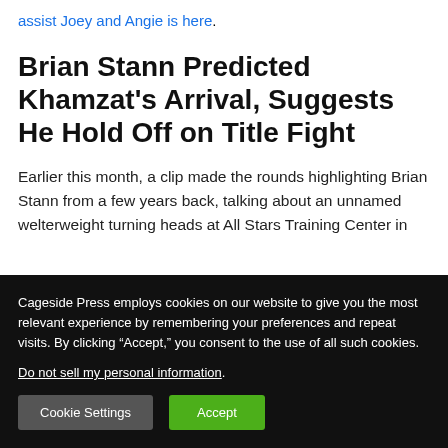assist Joey and Angie is here.
Brian Stann Predicted Khamzat's Arrival, Suggests He Hold Off on Title Fight
Earlier this month, a clip made the rounds highlighting Brian Stann from a few years back, talking about an unnamed welterweight turning heads at All Stars Training Center in
Cageside Press employs cookies on our website to give you the most relevant experience by remembering your preferences and repeat visits. By clicking “Accept,” you consent to the use of all such cookies. Do not sell my personal information.
Cookie Settings
Accept